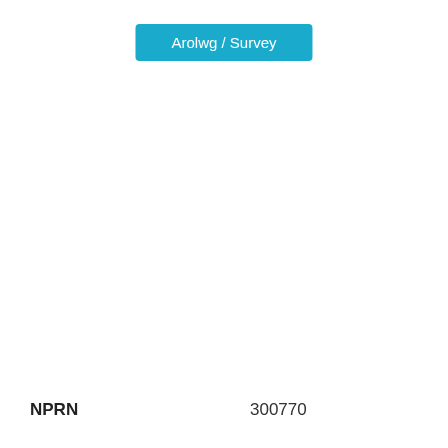Arolwg / Survey
[Figure (other): Navigation tab bar with four tabs: Details (red/active), Images (dark grey), Related (dark grey), Archives (dark grey)]
NPRN	300770